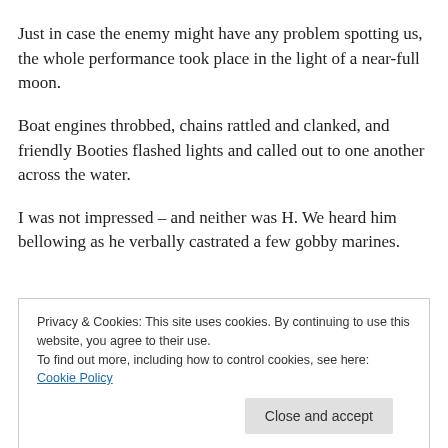Just in case the enemy might have any problem spotting us, the whole performance took place in the light of a near-full moon.
Boat engines throbbed, chains rattled and clanked, and friendly Booties flashed lights and called out to one another across the water.
I was not impressed – and neither was H. We heard him bellowing as he verbally castrated a few gobby marines.
Privacy & Cookies: This site uses cookies. By continuing to use this website, you agree to their use. To find out more, including how to control cookies, see here: Cookie Policy
Close and accept
H was on top form. He had plans to formulate and there